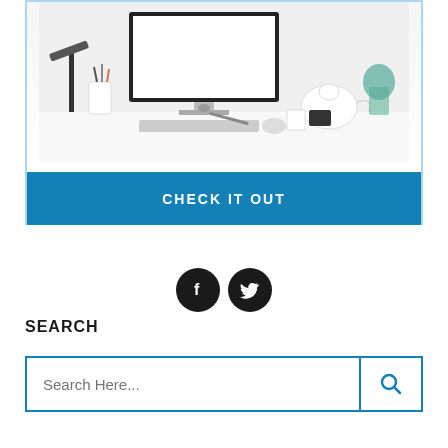[Figure (photo): A desktop workspace scene with an iMac computer, desk lamp, pencil holder, teapot, plant, and various desk accessories on a white surface]
CHECK IT OUT
[Figure (illustration): Social media icons: Facebook (f) and Twitter (bird) as black circular buttons]
SEARCH
Search Here...